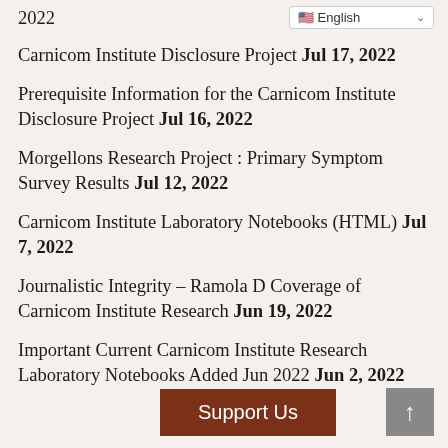2022
Carnicom Institute Disclosure Project Jul 17, 2022
Prerequisite Information for the Carnicom Institute Disclosure Project Jul 16, 2022
Morgellons Research Project : Primary Symptom Survey Results Jul 12, 2022
Carnicom Institute Laboratory Notebooks (HTML) Jul 7, 2022
Journalistic Integrity – Ramola D Coverage of Carnicom Institute Research Jun 19, 2022
Important Current Carnicom Institute Research Laboratory Notebooks Added Jun 2022 Jun 2, 2022